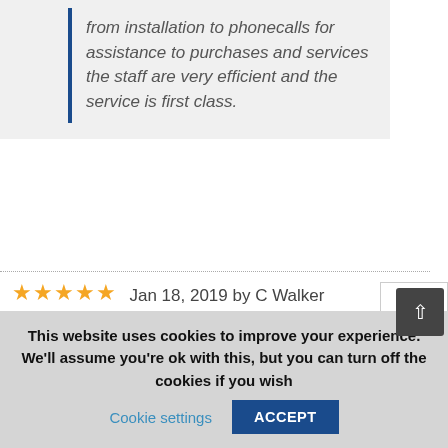from installation to phonecalls for assistance to purchases and services the staff are very efficient and the service is first class.
Jan 18, 2019 by C Walker
HotSpring Central
Took a long time to final get our first hot tub..should have bought one years ago Staff at Tillicoultry excellent from sale to after care and always available for advice
[Figure (other): Advertisement panel rotated sideways showing 'Sysnet Global Solutions Assurance Card' with an orange arrow circle icon]
This website uses cookies to improve your experience. We'll assume you're ok with this, but you can turn off the cookies if you wish Cookie settings ACCEPT